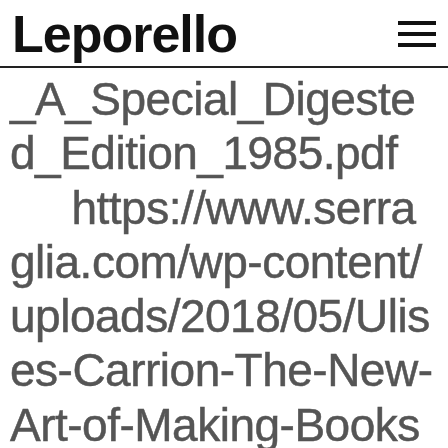Leporello
_A_Special_Digested_Edition_1985.pdf
        https://www.serraglia.com/wp-content/uploads/2018/05/Ulises-Carrion-The-New-Art-of-Making-Books1.pdf
        http://www.lapetitelibr